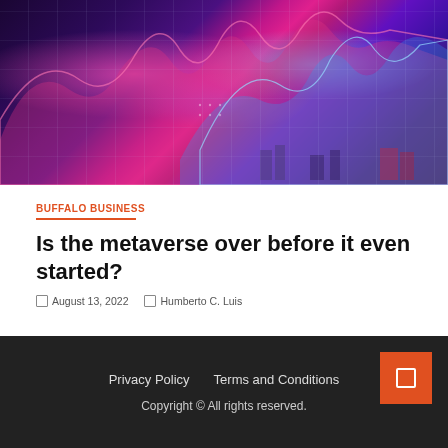[Figure (photo): Abstract digital visualization with colorful wave-like structures in pink, magenta, blue and purple on a dark background, resembling a futuristic data visualization or metaverse landscape]
BUFFALO BUSINESS
Is the metaverse over before it even started?
August 13, 2022   Humberto C. Luis
Privacy Policy   Terms and Conditions   Copyright © All rights reserved.